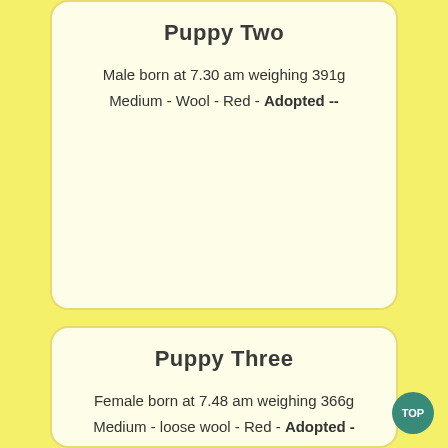Puppy Two
Male born at 7.30 am weighing 391g
Medium - Wool - Red - Adopted --
Puppy Three
Female born at 7.48 am weighing 366g
Medium - loose wool - Red - Adopted -